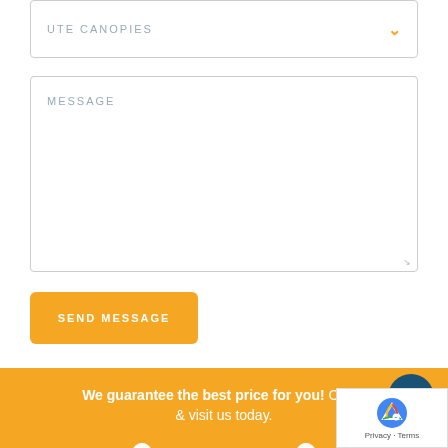UTE CANOPIES
MESSAGE
SEND MESSAGE
We guarantee the best price for you! Come & visit us today.